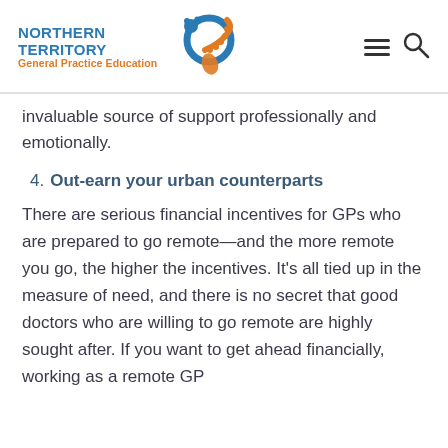Northern Territory General Practice Education
invaluable source of support professionally and emotionally.
4. Out-earn your urban counterparts
There are serious financial incentives for GPs who are prepared to go remote—and the more remote you go, the higher the incentives. It's all tied up in the measure of need, and there is no secret that good doctors who are willing to go remote are highly sought after. If you want to get ahead financially, working as a remote GP